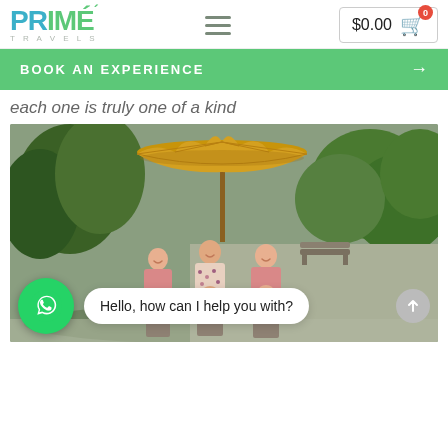PRIMÉ TRAVELS — $0.00 cart
BOOK AN EXPERIENCE →
each one is truly one of a kind
[Figure (photo): Three women in pink uniforms standing outdoors under a yellow parasol, surrounded by tropical greenery, greeting with hands pressed together in a traditional welcome gesture (wai). Garden setting with gravel path and bench in background.]
Hello, how can I help you with?